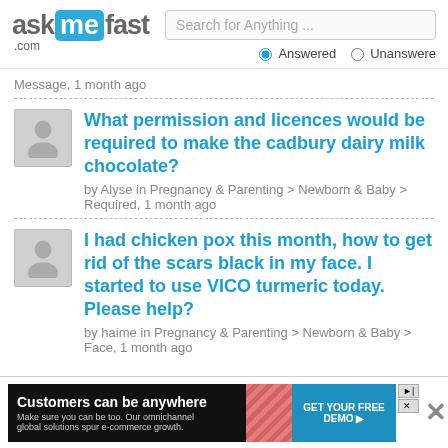askmefast.com — Search for Anything ... Answered / Unanswered
Message, 1 month ago
What permission and licences would be required to make the cadbury dairy milk chocolate?
by Alyse in Pregnancy & Parenting > Newborn & Baby > Required, 1 month ago
I had chicken pox this month, how to get rid of the scars black in my face. I started to use VICO turmeric today. Please help?
by haime in Pregnancy & Parenting > Newborn & Baby > Face, 1 month ago
[Figure (screenshot): Advertisement banner: Customers can be anywhere — GET YOUR FREE DEMO]